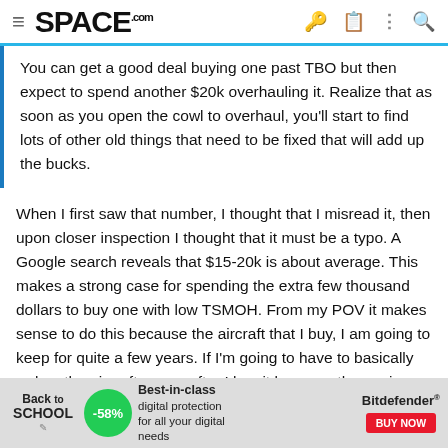SPACE.com
You can get a good deal buying one past TBO but then expect to spend another $20k overhauling it. Realize that as soon as you open the cowl to overhaul, you'll start to find lots of other old things that need to be fixed that will add up the bucks.
When I first saw that number, I thought that I misread it, then upon closer inspection I thought that it must be a typo. A Google search reveals that $15-20k is about average. This makes a strong case for spending the extra few thousand dollars to buy one with low TSMOH. From my POV it makes sense to do this because the aircraft that I buy, I am going to keep for quite a few years. If I'm going to have to basically re-buy the aircraft a year after I buy it because the engine has to get overhauled, then it is not worth it.
From what I've been able to scrounge on the Internet, Teledyne Continental states that the engine should be overhauled every 1,800 hours. Advice from one certified A&P that I read says that there is no problem flying any engine past the recommended overhaul time as
[Figure (other): Back to School advertisement banner with Bitdefender promotion: -58% off, Best-in-class digital protection for all your digital needs, with BUY NOW button]